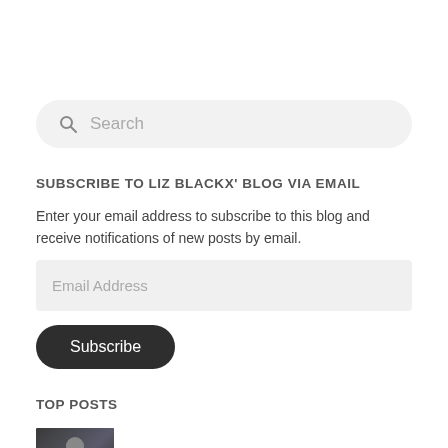[Figure (other): Search bar with magnifying glass icon and placeholder text 'Search']
SUBSCRIBE TO LIZ BLACKX' BLOG VIA EMAIL
Enter your email address to subscribe to this blog and receive notifications of new posts by email.
[Figure (other): Email Address input field (form element)]
[Figure (other): Subscribe button (dark rounded pill button)]
TOP POSTS
[Figure (photo): Thumbnail photo of a person (dark-clothed figure) against a dark urban background]
Fiction – Russian Bride Arrested